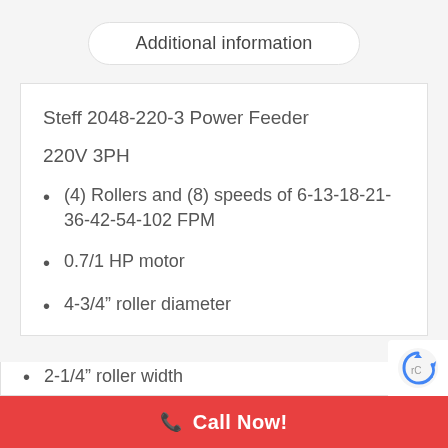Additional information
Steff 2048-220-3 Power Feeder
220V 3PH
(4) Rollers and (8) speeds of 6-13-18-21-36-42-54-102 FPM
0.7/1 HP motor
4-3/4” roller diameter
2-1/4” roller width
Call Now!